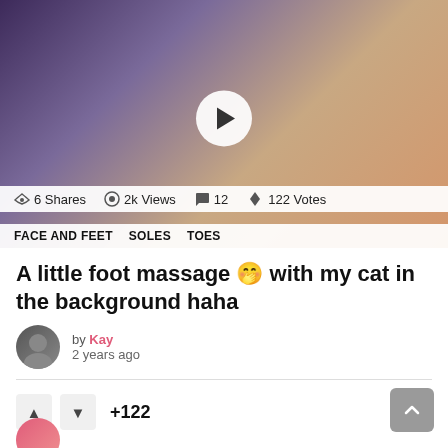[Figure (screenshot): Video thumbnail showing a person in a bedroom extending their foot toward the camera, with a play button overlay. Below the thumbnail are stats: 6 Shares, 2k Views, 12 comments, 122 Votes. Tags: FACE AND FEET, SOLES, TOES.]
A little foot massage 🤭 with my cat in the background haha
by Kay
2 years ago
+122